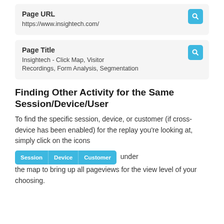Page URL
https://www.insightech.com/
Page Title
Insightech - Click Map, Visitor Recordings, Form Analysis, Segmentation
Finding Other Activity for the Same Session/Device/User
To find the specific session, device, or customer (if cross-device has been enabled) for the replay you're looking at, simply click on the icons Session Device Customer under the map to bring up all pageviews for the view level of your choosing.